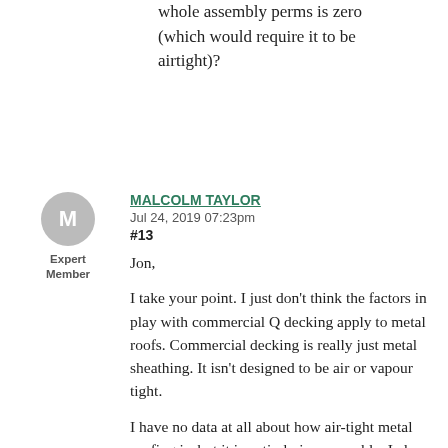whole assembly perms is zero (which would require it to be airtight)?
[Figure (other): Avatar circle with letter M, labeled Expert Member]
MALCOLM TAYLOR
Jul 24, 2019 07:23pm
#13

Jon,

I take your point. I just don’t think the factors in play with commercial Q decking apply to metal roofs. Commercial decking is really just metal sheathing. It isn’t designed to be air or vapour tight.

I have no data at all about how air-tight metal roofing is, but it is entirely impermeable. I also have no data that shows ventilation over sheathing